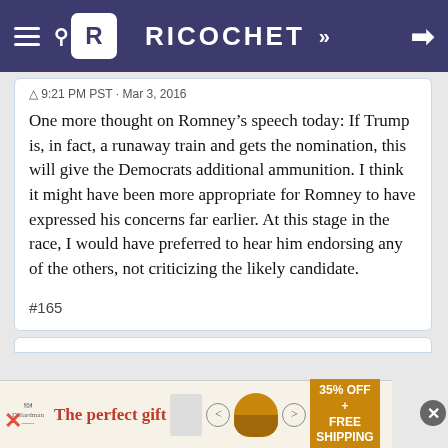RICOCHET
9:21 PM PST · Mar 3, 2016
One more thought on Romney's speech today: If Trump is, in fact, a runaway train and gets the nomination, this will give the Democrats additional ammunition. I think it might have been more appropriate for Romney to have expressed his concerns far earlier. At this stage in the race, I would have preferred to hear him endorsing any of the others, not criticizing the likely candidate.
#165
[Figure (infographic): Advertisement banner: 'The perfect gift' with food bowl imagery, navigation arrows, and '35% OFF + FREE SHIPPING' offer in orange box]